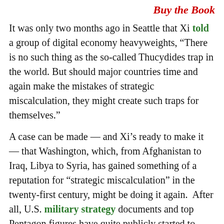Buy the Book
It was only two months ago in Seattle that Xi told a group of digital economy heavyweights, “There is no such thing as the so-called Thucydides trap in the world. But should major countries time and again make the mistakes of strategic miscalculation, they might create such traps for themselves.”
A case can be made — and Xi’s ready to make it — that Washington, which, from Afghanistan to Iraq, Libya to Syria, has gained something of a reputation for “strategic miscalculation” in the twenty-first century, might be doing it again.  After all, U.S. military strategy documents and top Pentagon figures have quite publicly started to label China (like Russia) as an official “threat.”
To grasp why Washington is starting to think of China that way, however, you need to take your eyes off the South China Sea for a moment, turn off Donald Trump, Ben Carson, and the rest of the posse, and consider the real game-changer — or “threat” — that’s rattling Beltway nerves in Washington when